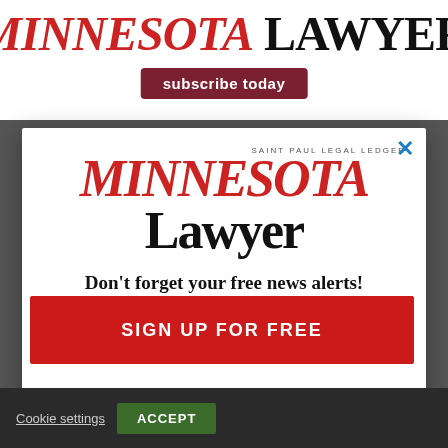MINNESOTA LAWYER — subscribe today
[Figure (logo): Saint Paul Legal Ledger Minnesota Lawyer logo — MINNESOTA in red italic serif, LAWYER in black serif]
Don't forget your free news alerts!
Get the latest legal news and opinions in Minnesota
[Figure (screenshot): Cheryl's: Cookie Delivery advertisement — gourmet brownies, cakes, cookies and cookie gift baskets, www.cheryls.com, with food photo and arrow button]
SIGN UP FOR FREE
Cookie settings  ACCEPT